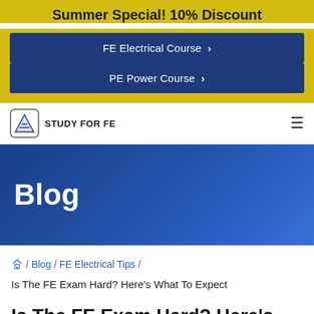Summer Special! 10% Discount
FE Electrical Course >
PE Power Course >
STUDY FOR FE
Blog
Home / Blog / FE Electrical Tips /
Is The FE Exam Hard? Here's What To Expect
Is The FE Exam Hard? Here's What